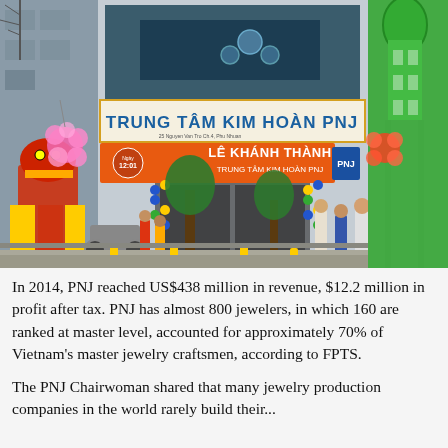[Figure (photo): Street-level photo of a PNJ jewelry store grand opening. The storefront displays a large sign reading 'TRUNG TAM KIM HOAN PNJ' in bold letters on a blue-bordered banner. Below it, an orange banner reads 'LE KHANH THANH TRUNG TAM KIM HOAN PNJ' with a clock showing 12:01. The entrance is decorated with colorful balloons and festive decorations. Traditional lion dancers in red and yellow costumes are visible on the left and right sides of the entrance. A crowd of people stands outside the store. Next to the building is a bright green building on the right side.]
In 2014, PNJ reached US$438 million in revenue, $12.2 million in profit after tax. PNJ has almost 800 jewelers, in which 160 are ranked at master level, accounted for approximately 70% of Vietnam's master jewelry craftsmen, according to FPTS.
The PNJ Chairwoman shared that many jewelry production companies in the world rarely build their...